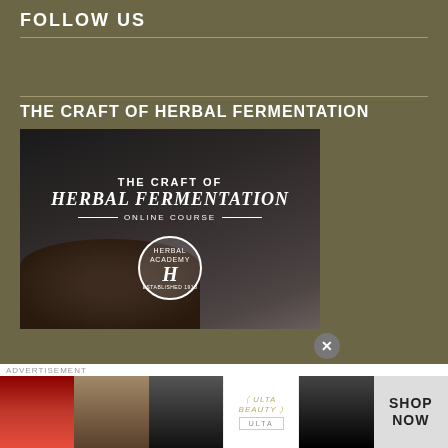FOLLOW US
THE CRAFT OF HERBAL FERMENTATION
[Figure (illustration): Promotional image for 'The Craft of Herbal Fermentation Online Course' by Herbal Academy, showing dark earthy background with text overlay and circular Herbal Academy badge with letter H]
[Figure (infographic): Advertisement banner showing Ulta Beauty makeup images - lips, brush, eye, Ulta logo, eye close-up, with 'SHOP NOW' text on right]
ADVERTISEMENT